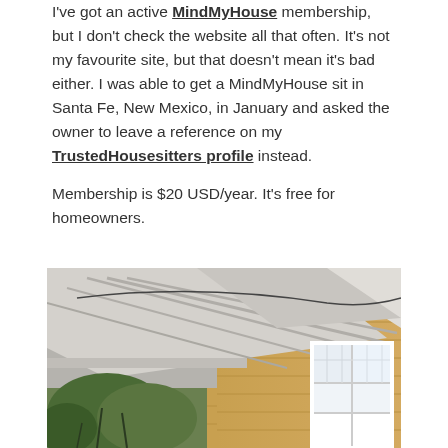I've got an active MindMyHouse membership, but I don't check the website all that often. It's not my favourite site, but that doesn't mean it's bad either. I was able to get a MindMyHouse sit in Santa Fe, New Mexico, in January and asked the owner to leave a reference on my TrustedHousesitters profile instead.
Membership is $20 USD/year. It's free for homeowners.
[Figure (photo): Exterior of a wooden house with yellow/honey-colored clapboard siding, a covered porch with exposed wooden beam rafters under a gray roof overhang, white-framed multi-pane windows, and green trees visible in the lower left.]